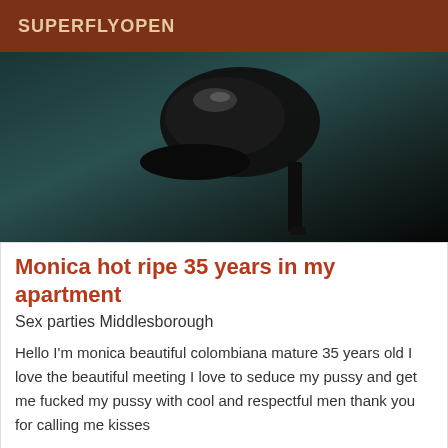SUPERFLYOPEN
[Figure (photo): Photo of a black high heel shoe on a dark teal surface]
Monica hot ripe 35 years in my apartment
Sex parties Middlesborough
Hello I'm monica beautiful colombiana mature 35 years old I love the beautiful meeting I love to seduce my pussy and get me fucked my pussy with cool and respectful men thank you for calling me kisses
[Figure (photo): Partial photo of a woman with dark hair against a red background, with an 'Online' badge]